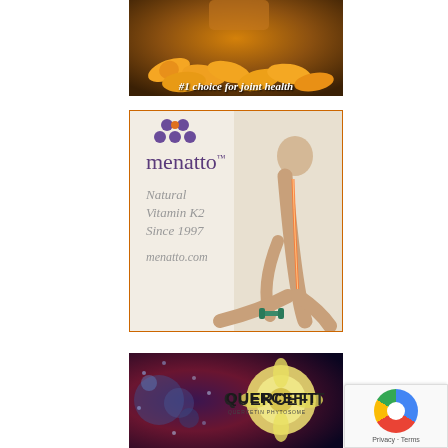[Figure (photo): Advertisement banner showing supplement capsules/pills in orange color with text '#1 choice for joint health' overlaid in italic white text on a dark brown/amber background]
[Figure (photo): Advertisement for Menatto brand Natural Vitamin K2 supplement since 1997. Shows the Menatto logo with purple and orange dots, brand name in purple, italic taglines 'Natural Vitamin K2 Since 1997' and 'menatto.com' in gray, with a woman exercising with a glowing spine illustration on the right side. Orange border frame.]
[Figure (photo): Advertisement for Quercefit Quercetin Phytosome supplement. Dark purple/red background with molecular particle visualization and a flower/plant image. Quercefit logo text and QUERCETIN PHYTOSOME subtitle visible.]
[Figure (logo): Google reCAPTCHA privacy badge in bottom right corner with colorful circular logo and 'Privacy - Terms' text]